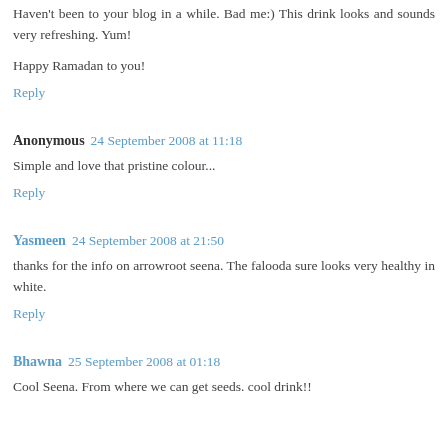Haven't been to your blog in a while. Bad me:) This drink looks and sounds very refreshing. Yum!
Happy Ramadan to you!
Reply
Anonymous  24 September 2008 at 11:18
Simple and love that pristine colour...
Reply
Yasmeen  24 September 2008 at 21:50
thanks for the info on arrowroot seena. The falooda sure looks very healthy in white.
Reply
Bhawna  25 September 2008 at 01:18
Cool Seena. From where we can get seeds. cool drink!!